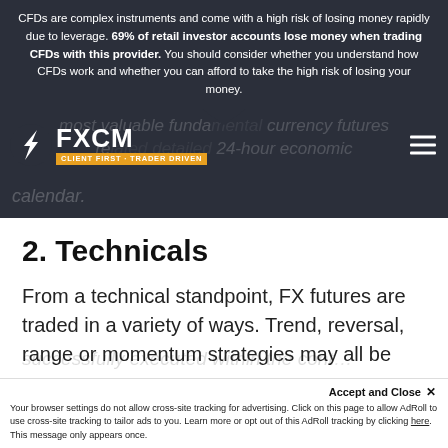CFDs are complex instruments and come with a high risk of losing money rapidly due to leverage. 69% of retail investor accounts lose money when trading CFDs with this provider. You should consider whether you understand how CFDs work and whether you can afford to take the high risk of losing your money.
[Figure (logo): FXCM logo with lightning bolt icon and tagline CLIENT FIRST · TRADER DRIVEN on orange background]
most valuable fundamental currency futures related detailed 24-hour economic calendar.
2. Technicals
From a technical standpoint, FX futures are traded in a variety of ways. Trend, reversal, range or momentum strategies may all be successfully executed within the cont...
Accept and Close ×  Your browser settings do not allow cross-site tracking for advertising. Click on this page to allow AdRoll to use cross-site tracking to tailor ads to you. Learn more or opt out of this AdRoll tracking by clicking here. This message only appears once.